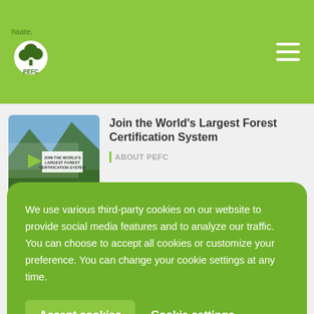PEFC | haate.
Join the World's Largest Forest Certification System
ABOUT PEFC
We use various third-party cookies on our website to provide social media features and to analyze our traffic. You can choose to accept all cookies or customize your preference. You can change your cookie settings at any time.
Accept cookies
Cookie settings
Forests are Home – Brochure